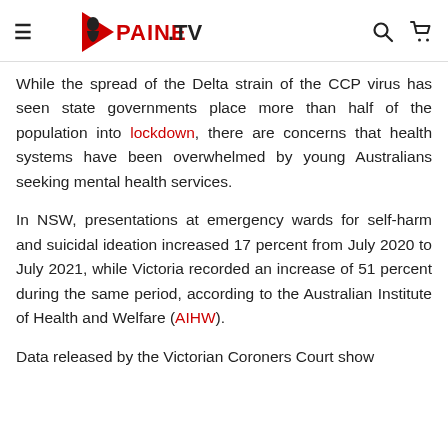≡  PAINE.TV  🔍  🛒
While the spread of the Delta strain of the CCP virus has seen state governments place more than half of the population into lockdown, there are concerns that health systems have been overwhelmed by young Australians seeking mental health services.
In NSW, presentations at emergency wards for self-harm and suicidal ideation increased 17 percent from July 2020 to July 2021, while Victoria recorded an increase of 51 percent during the same period, according to the Australian Institute of Health and Welfare (AIHW).
Data released by the Victorian Coroners Court show